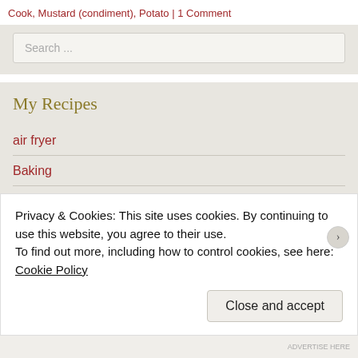Cook, Mustard (condiment), Potato | 1 Comment
Search ...
My Recipes
air fryer
Baking
Breakfast
Dessert, Appetizer and Snacks
Drinks
Privacy & Cookies: This site uses cookies. By continuing to use this website, you agree to their use.
To find out more, including how to control cookies, see here: Cookie Policy
Close and accept
ADVERTISE HERE